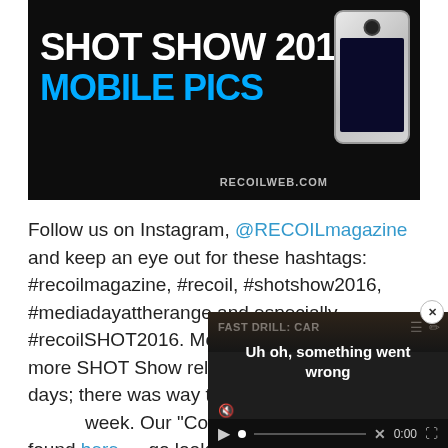[Figure (photo): SHOT SHOW 2016 MOBILE PICS banner with smartphone image and recoilweb.com branding on dark background]
Follow us on Instagram, @RECOILmagazine and keep an eye out for these hashtags: #recoilmagazine, #recoil, #shotshow2016, #mediadayattherange and especially #recoilSHOT2016. Monitor this frequency for more SHOT Show related post in the coming days; there was way too much material to cover in one week. Our "Constant Cove" found here — go look at a every kind of manufacture
[Figure (screenshot): Video player overlay showing 'FAST DRILL: CAR' with error message 'Uh oh, something went wrong' and playback controls showing 0:00]